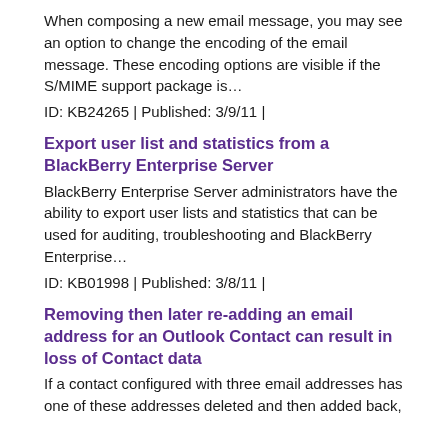When composing a new email message, you may see an option to change the encoding of the email message. These encoding options are visible if the S/MIME support package is…
ID: KB24265 | Published: 3/9/11 |
Export user list and statistics from a BlackBerry Enterprise Server
BlackBerry Enterprise Server administrators have the ability to export user lists and statistics that can be used for auditing, troubleshooting and BlackBerry Enterprise…
ID: KB01998 | Published: 3/8/11 |
Removing then later re-adding an email address for an Outlook Contact can result in loss of Contact data
If a contact configured with three email addresses has one of these addresses deleted and then added back,